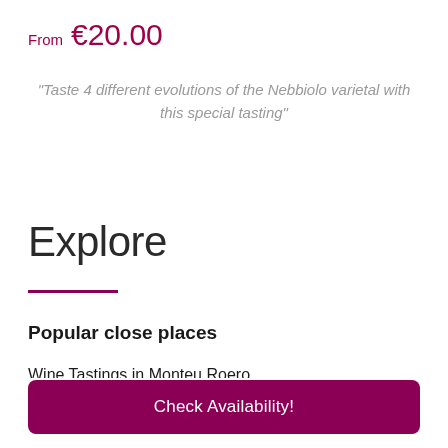From €20.00
“Taste 4 different evolutions of the Nebbiolo varietal with this special tasting”
Explore
Popular close places
Wine Tastings in Monteu Roero
Check Availability!